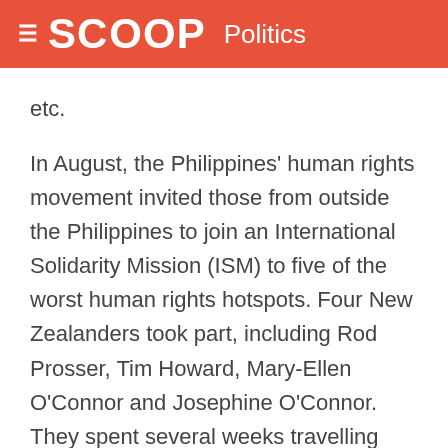SCOOP Politics
etc.
In August, the Philippines' human rights movement invited those from outside the Philippines to join an International Solidarity Mission (ISM) to five of the worst human rights hotspots. Four New Zealanders took part, including Rod Prosser, Tim Howard, Mary-Ellen O'Connor and Josephine O'Connor. They spent several weeks travelling throughout the Philippines, viewing graphic evidence of a War of Terror that is being waged by the Philippine military and Government against its 'own' people.
POWI...